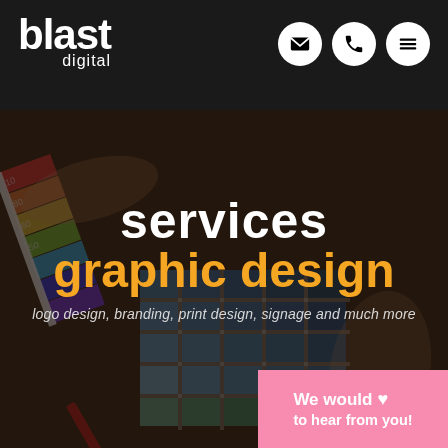[Figure (logo): Blast Digital logo: bold white 'blast' text with 'digital' below it in smaller lighter text, on dark background header]
[Figure (illustration): Three circular icons on dark header: envelope/email icon, phone icon, and hamburger menu icon]
[Figure (photo): Background photo of color swatches/pantone fan deck with hands, darkened overlay]
services
graphic design
logo design, branding, print design, signage and much more
We would ♥ to hear from you!